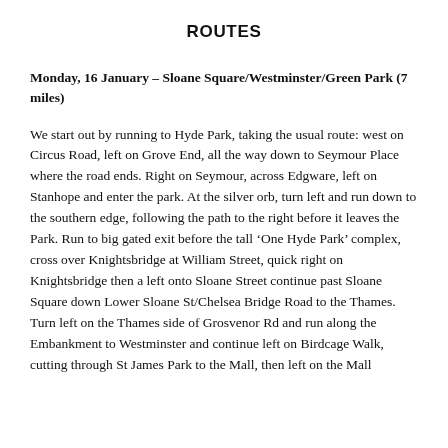ROUTES
Monday, 16 January – Sloane Square/Westminster/Green Park (7 miles)
We start out by running to Hyde Park, taking the usual route: west on Circus Road, left on Grove End, all the way down to Seymour Place where the road ends. Right on Seymour, across Edgware, left on Stanhope and enter the park. At the silver orb, turn left and run down to the southern edge, following the path to the right before it leaves the Park. Run to big gated exit before the tall 'One Hyde Park' complex, cross over Knightsbridge at William Street, quick right on Knightsbridge then a left onto Sloane Street continue past Sloane Square down Lower Sloane St/Chelsea Bridge Road to the Thames. Turn left on the Thames side of Grosvenor Rd and run along the Embankment to Westminster and continue left on Birdcage Walk, cutting through St James Park to the Mall, then left on the Mall